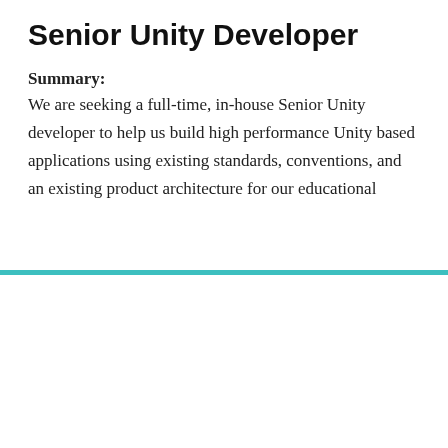Senior Unity Developer
Summary:
We are seeking a full-time, in-house Senior Unity developer to help us build high performance Unity based applications using existing standards, conventions, and an existing product architecture for our educational
[Figure (screenshot): Chat widget overlay from Career Movement. Shows a teal divider bar, a grey avatar with person icon, chat header with 'Career Movement' and close (X) button, greeting text 'How can we help? We're here for you!', a reply input box with placeholder 'Reply to Career Movement', and footer 'Chat ⚡ by Drift'.]